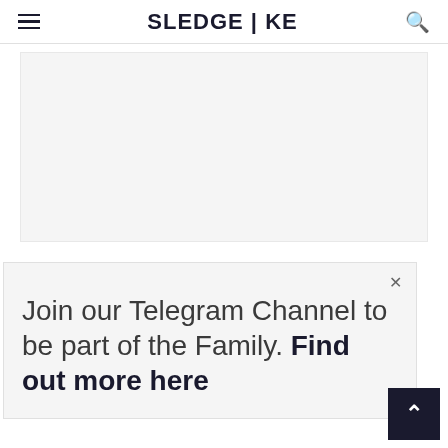SLEDGE | KE
[Figure (other): Light gray advertisement placeholder rectangle]
Join our Telegram Channel to be part of the Family. Find out more here